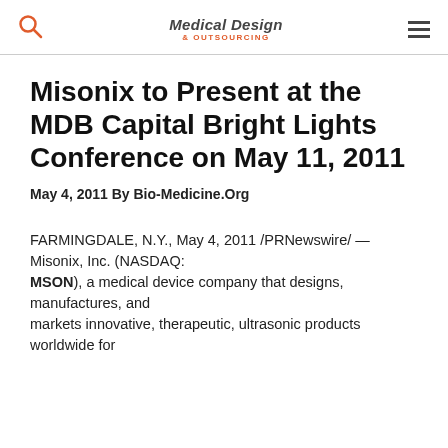Medical Design & Outsourcing
Misonix to Present at the MDB Capital Bright Lights Conference on May 11, 2011
May 4, 2011 By Bio-Medicine.Org
FARMINGDALE, N.Y., May 4, 2011 /PRNewswire/ — Misonix, Inc. (NASDAQ: MSON), a medical device company that designs, manufactures, and markets innovative, therapeutic, ultrasonic products worldwide for